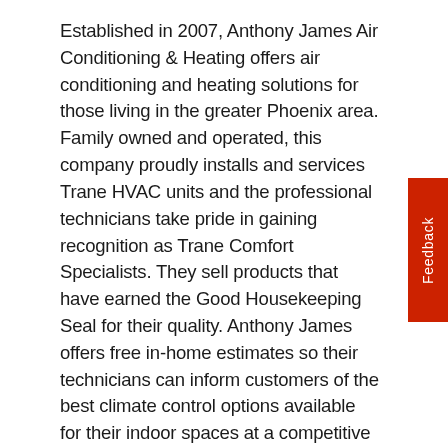Established in 2007, Anthony James Air Conditioning & Heating offers air conditioning and heating solutions for those living in the greater Phoenix area. Family owned and operated, this company proudly installs and services Trane HVAC units and the professional technicians take pride in gaining recognition as Trane Comfort Specialists. They sell products that have earned the Good Housekeeping Seal for their quality. Anthony James offers free in-home estimates so their technicians can inform customers of the best climate control options available for their indoor spaces at a competitive price. Whenever possible, their technicians offer same-day, 24/7 service for emergency repairs at homes, businesses, or other establishments without any hidden additional overtime charges.
The Trane systems available at Anthony James Air